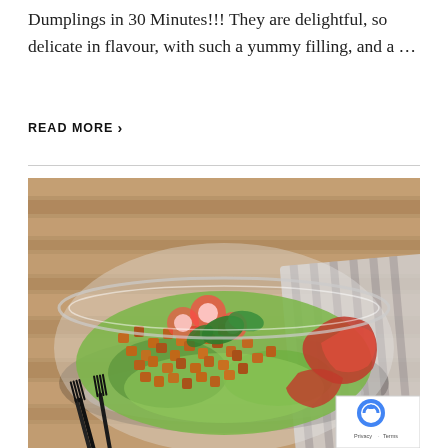Dumplings in 30 Minutes!!! They are delightful, so delicate in flavour, with such a yummy filling, and a ...
READ MORE ›
[Figure (photo): A glass bowl filled with a salad of spiced roasted chickpeas, lettuce, sliced radishes, fresh basil leaves, and roasted red peppers, placed on a wooden cutting board with a striped cloth and black forks beside it.]